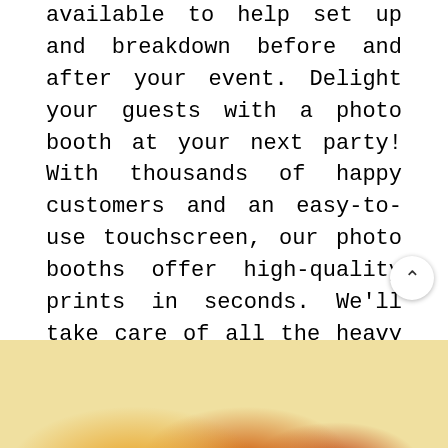available to help set up and breakdown before and after your event. Delight your guests with a photo booth at your next party! With thousands of happy customers and an easy-to-use touchscreen, our photo booths offer high-quality prints in seconds. We'll take care of all the heavy lifting, so you can focus on having fun with family and friends. Our eye-catching, custom-branded photo booths are our signature. They come complete with a professional brand manager on site to help everyone create their best memories ever – worry free! Create customized keepsakes that will last forever and have your guests talking for weeks.
[Figure (photo): Partial view of colorful decorative elements in yellow, orange, and red tones at the bottom of the page]